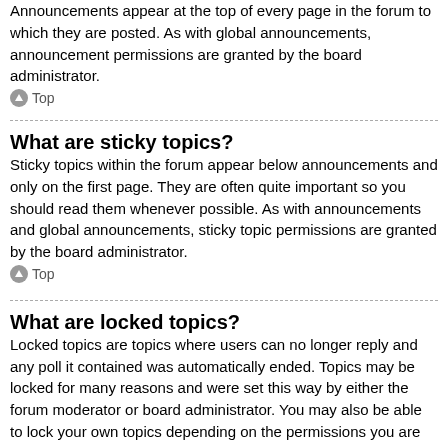Announcements appear at the top of every page in the forum to which they are posted. As with global announcements, announcement permissions are granted by the board administrator.
Top
What are sticky topics?
Sticky topics within the forum appear below announcements and only on the first page. They are often quite important so you should read them whenever possible. As with announcements and global announcements, sticky topic permissions are granted by the board administrator.
Top
What are locked topics?
Locked topics are topics where users can no longer reply and any poll it contained was automatically ended. Topics may be locked for many reasons and were set this way by either the forum moderator or board administrator. You may also be able to lock your own topics depending on the permissions you are granted by the board administrator.
Top
What are topic icons?